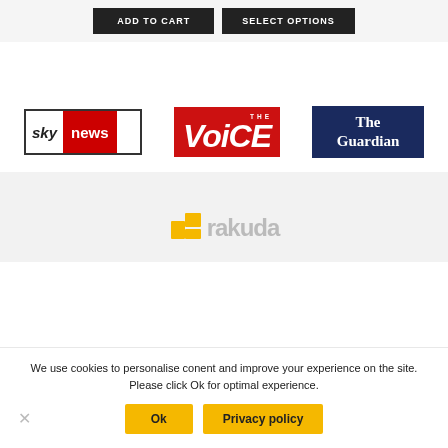[Figure (logo): ADD TO CART and SELECT OPTIONS buttons, dark background]
[Figure (logo): Sky News logo — white background with red 'news' block]
[Figure (logo): The Voice logo — red background with large italic white text]
[Figure (logo): The Guardian logo — navy blue background with white serif text]
[Figure (logo): Rakuten logo partially visible, yellow icon and grey text]
We use cookies to personalise conent and improve your experience on the site. Please click Ok for optimal experience.